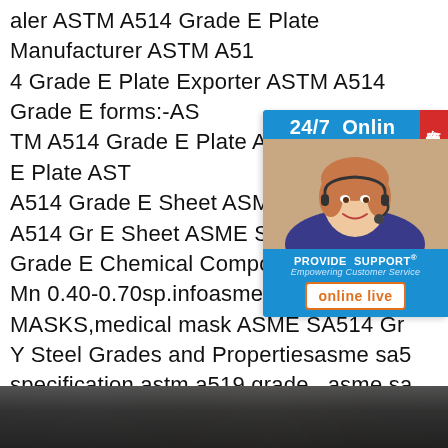aler ASTM A514 Grade E Plate Manufacturer ASTM A514 Grade E Plate Exporter ASTM A514 Grade E forms:-ASTM A514 Grade E Plate ASME SA514 Gr E Plate ASTM A514 Grade E Sheet ASME SA514 Grade A514 Gr E Sheet ASME SA514 Gr E Sheet ASME SA514 Gr E Sheet Grade E Chemical Composition.Element Mn 0.40-0.70sp.infoasme sa514 grade MASKS,medical mask ASME SA514 Gr Y Steel Grades and Propertiesasme sa5 specification,astm a519 grade . asme sa ecification Q235B Steel Q345 .Specializ 4 gr e steel specification.ASME SA514 Gr.B Plate,ASTM A514 T1 steel,ASTM A514 Superior Steel Oveseas is prominent manufacturer,supplier exporter of ASME
[Figure (other): 24/7 online support widget with Chinese text, customer service representative photo, PROVIDE SUPPORT branding, and online live button]
[Figure (photo): Bottom portion of a photo showing industrial/manufacturing equipment in dark tones]